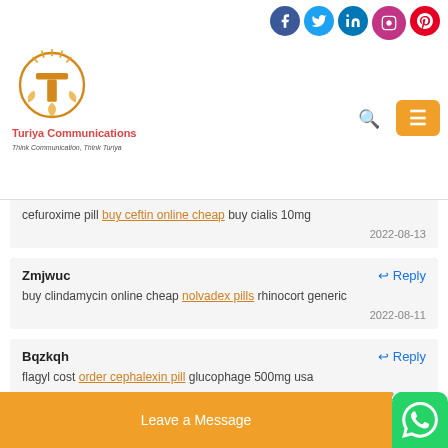Turiya Communications - Think Communication, Think Turiya
cefuroxime pill buy ceftin online cheap buy cialis 10mg
2022-08-13
Zmjwuc
buy clindamycin online cheap nolvadex pills rhinocort generic
2022-08-11
Bqzkqh
flagyl cost order cephalexin pill glucophage 500mg usa
2022-08-10
Hbikkv
purchase... glucoph...
Leave a Message